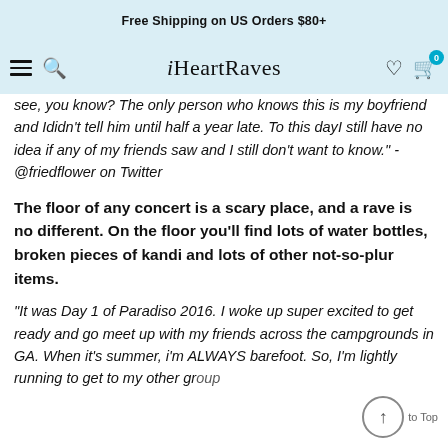Free Shipping on US Orders $80+
[Figure (screenshot): iHeartRaves navigation bar with hamburger menu, search icon, logo, heart icon, and cart icon with badge showing 0]
see, you know? The only person who knows this is my boyfriend and Ididnt tell him until half a year late. To this dayI still have no idea if any of my friends saw and I still don't want to know." - @friedflower on Twitter
The floor of any concert is a scary place, and a rave is no different. On the floor you'll find lots of water bottles, broken pieces of kandi and lots of other not-so-plur items.
“It was Day 1 of Paradiso 2016. I woke up super excited to get ready and go meet up with my friends across the campgrounds in GA. When it’s summer, i’m ALWAYS barefoot. So, I’m lightly running to get to my other group